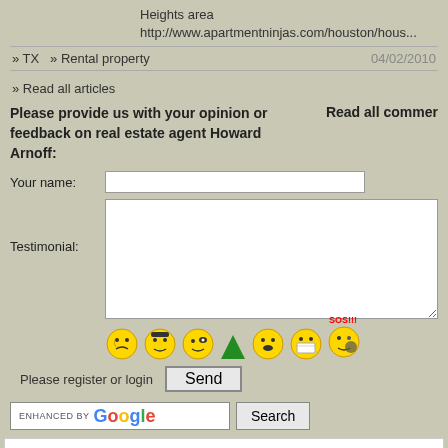Heights area
http://www.apartmentninjas.com/houston/hous...
» TX  » Rental property    04/02/2010
» Read all articles
Please provide us with your opinion or feedback on real estate agent Howard Arnoff:
Read all commer
Your name:
Testimonial:
Please register or login
ENHANCED BY Google Search
Real estate TOP: •Portland, OR real estate ✿ □□ C □ ☰ □□□  •Plano, TX real estate □□□□ ✿ AZ real estate □□□□ ✿ □ C ☰ □  •Frisco, TX real estate C ✿ □□□□□□ ☰ □  •Austin, TX real e C □  •Sacramento, CA real estate □□□ ✿ ☰ □□ C □  •Beaverton, OR real estate □□□ ✿ ☰ real estate □□□ ✿ ☰ □□ C □  •Denver, CO real estate □□□ ✿ □□ C □  •Tampa, FL real est
(c) GreatRealtyUSA.com - all about real estate things and people. From cabin selling to All rights reserved.
Home | Contact us | Realtors testimonials | Sitemap | 469 ZIPs updated